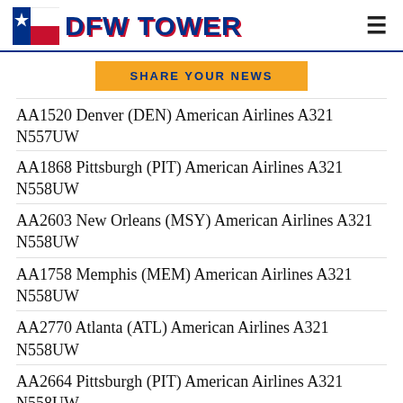[Figure (logo): DFW Tower logo with Texas flag icon and bold blue DFW TOWER text]
AA1520 Denver (DEN) American Airlines A321 N557UW
AA1868 Pittsburgh (PIT) American Airlines A321 N558UW
AA2603 New Orleans (MSY) American Airlines A321 N558UW
AA1758 Memphis (MEM) American Airlines A321 N558UW
AA2770 Atlanta (ATL) American Airlines A321 N558UW
AA2664 Pittsburgh (PIT) American Airlines A321 N558UW